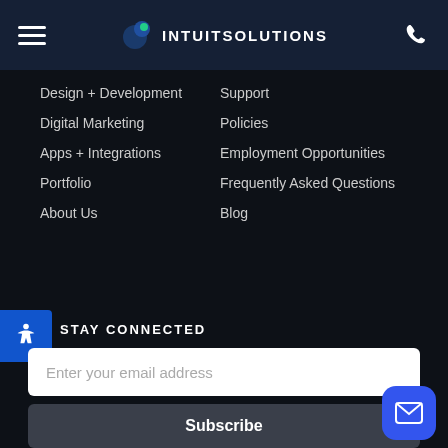INTUITSOLUTIONS
Design + Development
Digital Marketing
Apps + Integrations
Portfolio
About Us
Support
Policies
Employment Opportunities
Frequently Asked Questions
Blog
STAY CONNECTED
Enter your email address
Subscribe